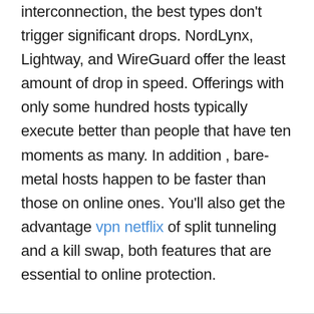While most VPN services slow down your interconnection, the best types don't trigger significant drops. NordLynx, Lightway, and WireGuard offer the least amount of drop in speed. Offerings with only some hundred hosts typically execute better than people that have ten moments as many. In addition , bare-metal hosts happen to be faster than those on online ones. You'll also get the advantage vpn netflix of split tunneling and a kill swap, both features that are essential to online protection.